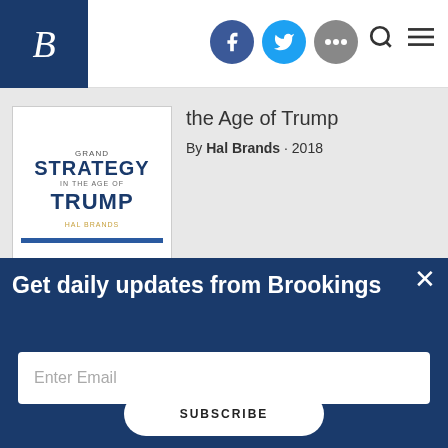Brookings Institution header with logo, social icons (Facebook, Twitter, more), search and menu icons
[Figure (photo): Book cover: Grand Strategy in the Age of Trump by Hal Brands]
the Age of Trump
By Hal Brands · 2018
[Figure (photo): Book cover: Militants, Criminals, and Warlords]
Militants, Criminals, and Warlords
By Vanda Felbab-Brown, Harold Trinkunas, and Shadi Hamid · 2017
Get daily updates from Brookings
Enter Email
SUBSCRIBE